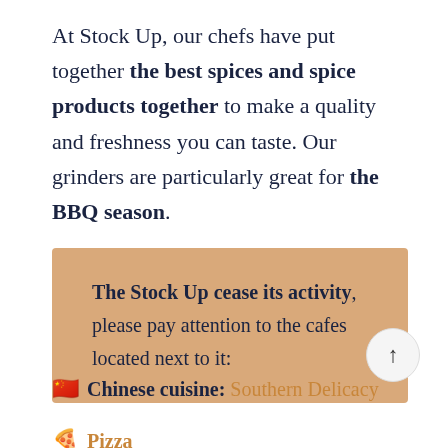At Stock Up, our chefs have put together the best spices and spice products together to make a quality and freshness you can taste. Our grinders are particularly great for the BBQ season.
The Stock Up cease its activity, please pay attention to the cafes located next to it:
🇨🇳 Chinese cuisine: Southern Delicacy
🍕 Pizza: ...